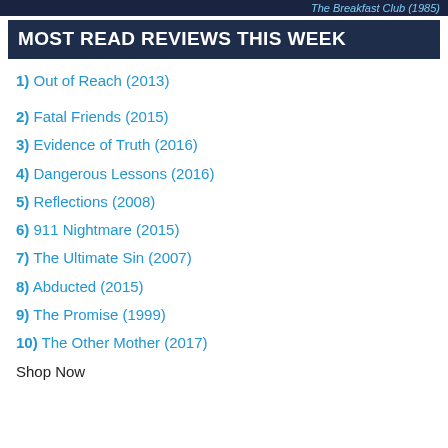The Breakfast Club (1985)
MOST READ REVIEWS THIS WEEK
1) Out of Reach (2013)
2) Fatal Friends (2015)
3) Evidence of Truth (2016)
4) Dangerous Lessons (2016)
5) Reflections (2008)
6) 911 Nightmare (2015)
7) The Ultimate Sin (2007)
8) Abducted (2015)
9) The Promise (1999)
10) The Other Mother (2017)
Shop Now